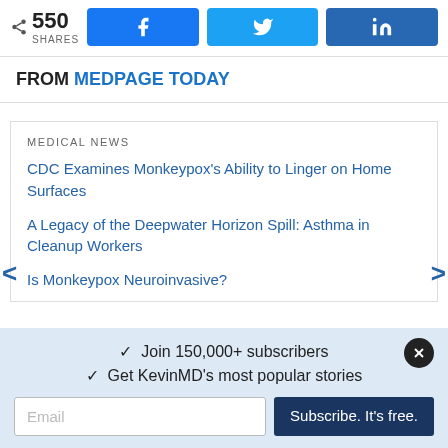550 SHARES — social share bar with Facebook, Twitter, LinkedIn buttons
FROM MEDPAGE TODAY
MEDICAL NEWS
CDC Examines Monkeypox's Ability to Linger on Home Surfaces
A Legacy of the Deepwater Horizon Spill: Asthma in Cleanup Workers
Is Monkeypox Neuroinvasive?
✓ Join 150,000+ subscribers
✓ Get KevinMD's most popular stories
Email | Subscribe. It's free.